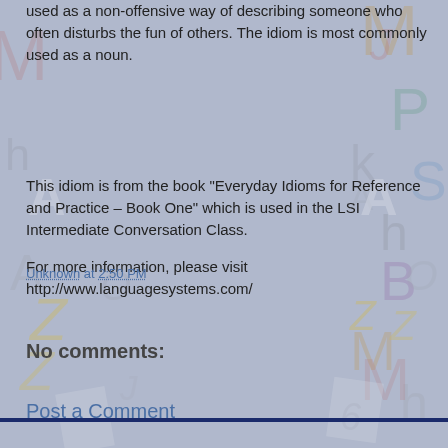used as a non-offensive way of describing someone who often disturbs the fun of others.  The idiom is most commonly used as a noun.
This idiom is from the book "Everyday Idioms for Reference and Practice – Book One" which is used in the LSI Intermediate Conversation Class.
For more information, please visit http://www.languagesystems.com/
Unknown at 2:50 PM
Share
No comments:
Post a Comment